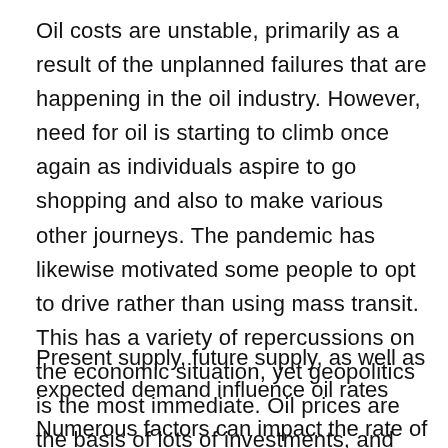Oil costs are unstable, primarily as a result of the unplanned failures that are happening in the oil industry. However, need for oil is starting to climb once again as individuals aspire to go shopping and also to make various other journeys. The pandemic has likewise motivated some people to opt to drive rather than using mass transit. This has a variety of repercussions on the economic situation, yet geopolitics is the most immediate. Oil prices are the basis of lots of investments, and also speculators make money in the oil market. see post
Present supply, future supply, as well as expected demand influence oil rates
Numerous factors can impact the rate of oil,